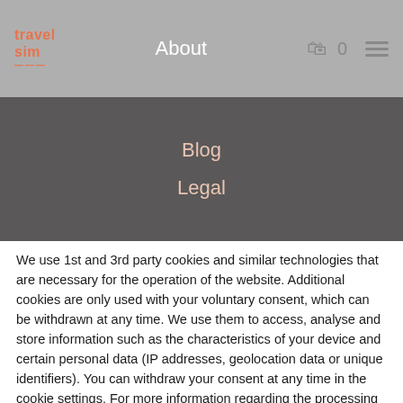travel sim | About | Blog | Legal
We use 1st and 3rd party cookies and similar technologies that are necessary for the operation of the website. Additional cookies are only used with your voluntary consent, which can be withdrawn at any time. We use them to access, analyse and store information such as the characteristics of your device and certain personal data (IP addresses, geolocation data or unique identifiers). You can withdraw your consent at any time in the cookie settings. For more information regarding the processing of your personal data, please see our Privacy Policy
Cookie Settings
Accept
Reject All